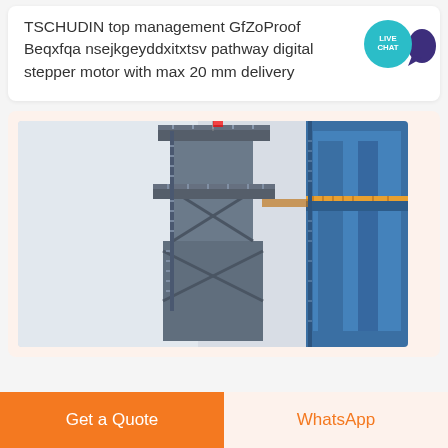TSCHUDIN top management GfZoProof Beqxfqa nsejkgeyddxitxtsv pathway digital stepper motor with max 20 mm delivery
[Figure (photo): Industrial tower structure with metal framework, ladders, platforms, and a blue silo or tank structure visible on the right side. Heavy industrial equipment photographed from below looking upward.]
Get a Quote
WhatsApp